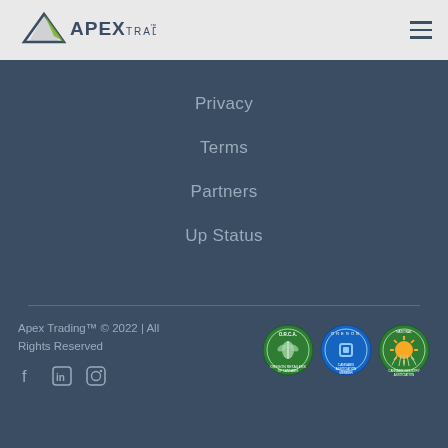[Figure (logo): Apex Trading logo with mountain/triangle shape in dark slate and green colors, with text 'APEX TRADING']
Privacy
Terms
Partners
Up Status
Apex Trading™ © 2022 | All Rights Reserved
[Figure (logo): ORCA Oregon Retailers of Cannabis Association badge (green circular badge with cannabis leaf)]
[Figure (logo): Oregon Cannabis Association Member badge (blue circular badge with cannabis icon)]
[Figure (logo): National Cannabis Industry Association badge (green circular badge with sunburst)]